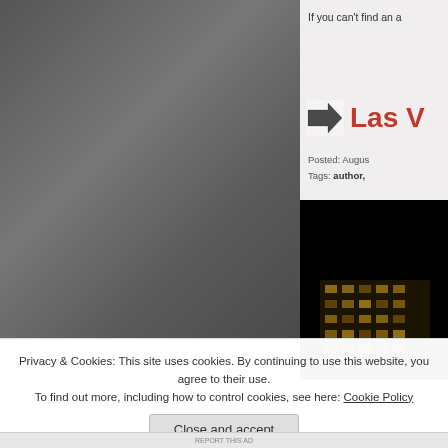[Figure (photo): Gray textured image on the left side, appears to be a torn or worn surface with varying shades of gray.]
If you can't find an a
Las V
Posted: Augus
Tags: author,
[Figure (photo): Night photograph of a building with dark sky background, showing illuminated windows of a multi-story building.]
Privacy & Cookies: This site uses cookies. By continuing to use this website, you agree to their use.
To find out more, including how to control cookies, see here: Cookie Policy
Close and accept
REPORT THIS AD